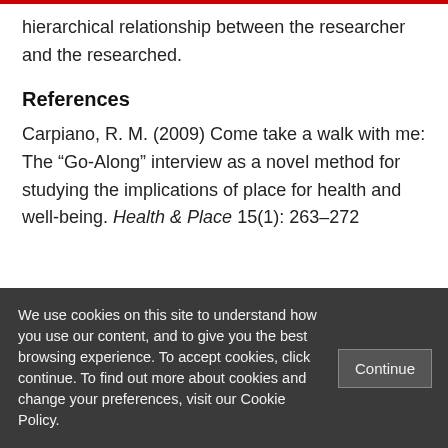hierarchical relationship between the researcher and the researched.
References
Carpiano, R. M. (2009) Come take a walk with me: The “Go-Along” interview as a novel method for studying the implications of place for health and well-being. Health & Place 15(1): 263–272
We use cookies on this site to understand how you use our content, and to give you the best browsing experience. To accept cookies, click continue. To find out more about cookies and change your preferences, visit our Cookie Policy.